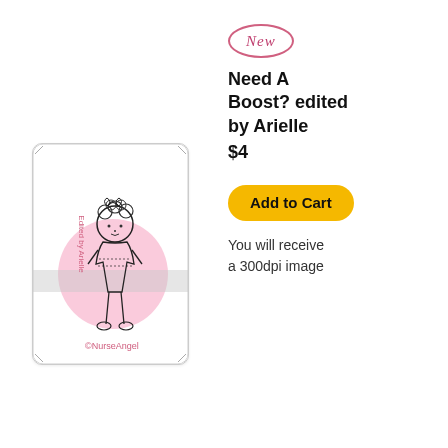[Figure (illustration): Product listing card showing a hand-drawn doll character with curly hair and pink circle background, with text 'Edited by Arielle' and copyright NurseAngel watermark]
[Figure (logo): Oval badge with pink border and cursive 'NEW' text inside, on white background]
Need A Boost? edited by Arielle
$4
Add to Cart
You will receive a 300dpi image